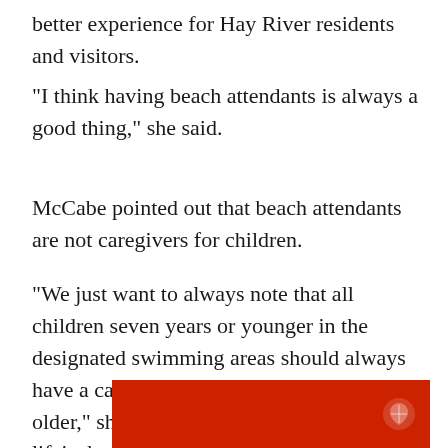better experience for Hay River residents and visitors.
“I think having beach attendants is always a good thing,” she said.
McCabe pointed out that beach attendants are not caregivers for children.
“We just want to always note that all children seven years or younger in the designated swimming areas should always have a caregiver that is 16 years of age or older,” she said, adding that wearing lifejackets is also encouraged.
[Figure (photo): Bottom portion of a red background image, partially cropped, with what appears to be a small badge or emblem on the right side.]